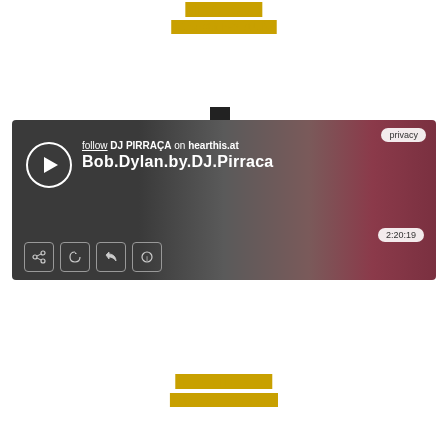MIXCLOUD
https://bit.ly/2RtJuNr
[Figure (screenshot): Hearthis.at music player widget showing 'Bob.Dylan.by.DJ.Pirraca' by DJ PIRRAÇA, with play button, duration 2:20:19, share/like/repeat/info controls, dark gradient background with red blur]
HEARTHIS.AT
https://bit.ly/3bygwml